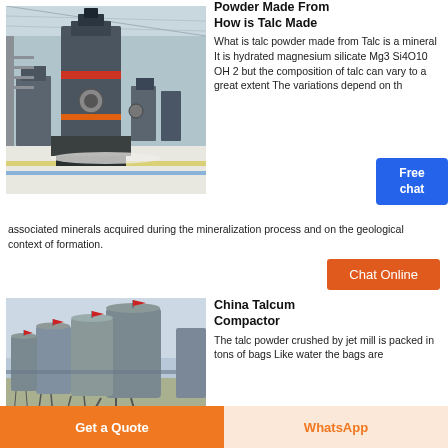[Figure (photo): Industrial talc grinding mill facility interior with large cylindrical grinding machine]
Powder Made From How is Talc Made
What is talc powder made from Talc is a mineral It is hydrated magnesium silicate Mg3 Si4O10 OH 2 but the composition of talc can vary to a great extent The variations depend on the associated minerals acquired during the mineralization process and on the geological context of formation.
Free chat
Chat Online
[Figure (photo): Industrial storage silos for talcum powder with red flags on top, exterior shot]
China Talcum Compactor
The talc powder crushed by jet mill is packed in tons of bags Like water the bags are
Get a Quote
WhatsApp